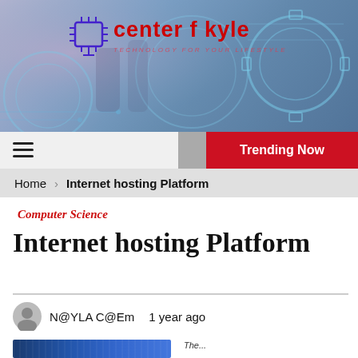[Figure (illustration): Header banner with technology/digital background — gears, circuit board patterns, blurred figures, blue-gray tones. Logo shows 'center f kyle' in red with a computer chip icon in blue/purple.]
center f kyle
Trending Now
Home   Internet hosting Platform
Computer Science
Internet hosting Platform
N@YLA C@Em   1 year ago